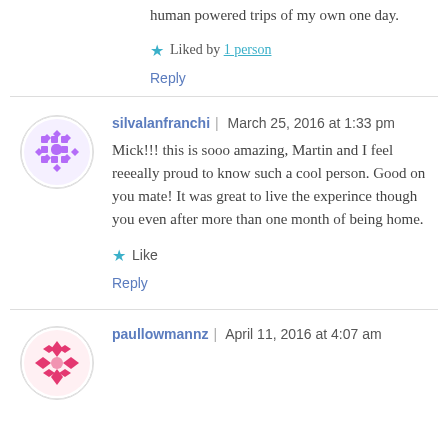human powered trips of my own one day.
Liked by 1 person
Reply
silvalanfranchi | March 25, 2016 at 1:33 pm
Mick!!! this is sooo amazing, Martin and I feel reeeally proud to know such a cool person. Good on you mate! It was great to live the experince though you even after more than one month of being home.
Like
Reply
paullowmannz | April 11, 2016 at 4:07 am